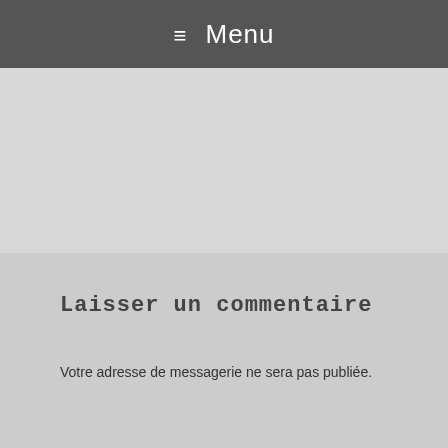≡ Menu
Laisser un commentaire
Votre adresse de messagerie ne sera pas publiée.
Commentaire
Privacy & Cookies Policy